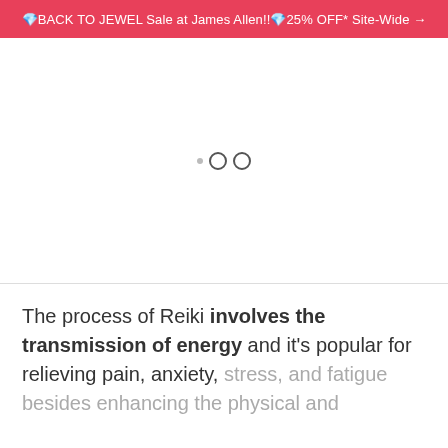💎BACK TO JEWEL Sale at James Allen!!💎25% OFF* Site-Wide →
[Figure (other): Image carousel placeholder area with navigation dots (one small filled dot and two outline circles)]
The process of Reiki involves the transmission of energy and it's popular for relieving pain, anxiety, stress, and fatigue besides enhancing the physical and...